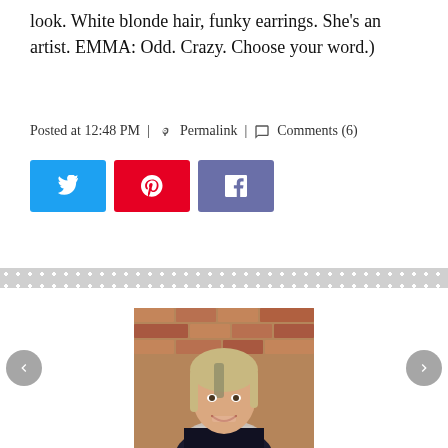look. White blonde hair, funky earrings. She's an artist. EMMA: Odd. Crazy. Choose your word.)
Posted at 12:48 PM | 🔗 Permalink | 💬 Comments (6)
[Figure (other): Social media share buttons: Twitter (blue), Pinterest (red), Facebook (blue-grey)]
[Figure (photo): Portrait photo of a woman with blonde hair and a dark top with a scarf, standing in front of a brick wall, smiling.]